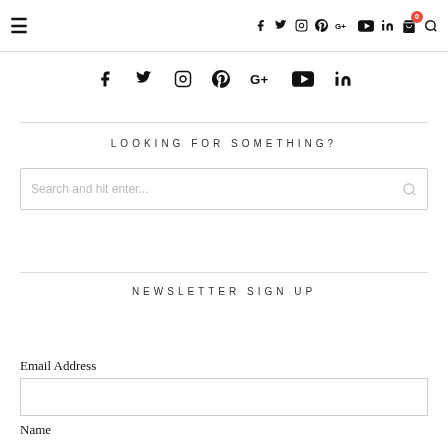Navigation bar with hamburger menu, social icons (f, twitter, instagram, pinterest, G+, youtube, linkedin, cart with badge 0, search)
[Figure (infographic): Social media icon row: Facebook, Twitter, Instagram, Pinterest, Google+, YouTube, LinkedIn]
LOOKING FOR SOMETHING?
Search and hit enter...
NEWSLETTER SIGN UP
Email Address
Name